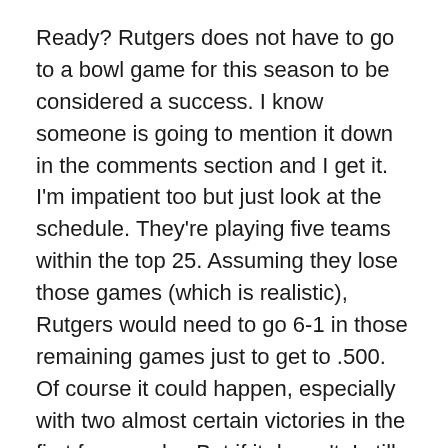Ready? Rutgers does not have to go to a bowl game for this season to be considered a success. I know someone is going to mention it down in the comments section and I get it. I'm impatient too but just look at the schedule. They're playing five teams within the top 25. Assuming they lose those games (which is realistic), Rutgers would need to go 6-1 in those remaining games just to get to .500. Of course it could happen, especially with two almost certain victories in the first four weeks. But if it doesn't, I still think there's a lot to look forward to.
Although Coach Ash has not yet officially announced a starter at quarterback, the general consensus is that the job will go to Artur Sitkowski, with Jonathan Lewis being used in select packages and Gio serving as a backup. Rutgers has been in desperate need of a